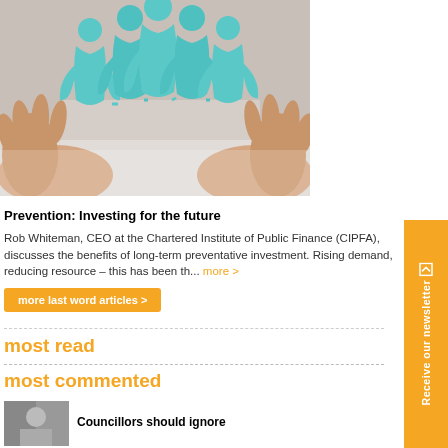[Figure (photo): Hands holding paper cut-out figures of people in a chain, representing community or public finance concept]
Prevention: Investing for the future
Rob Whiteman, CEO at the Chartered Institute of Public Finance (CIPFA), discusses the benefits of long-term preventative investment. Rising demand, reducing resource – this has been th... more >
more last word articles >
most read
most commented
Councillors should ignore
Receive our newsletter